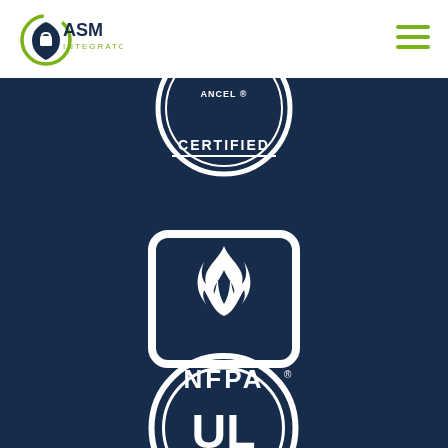[Figure (logo): ASM Integrators logo - dark navy shield with circular arrow and flame icon, green text 'ASM' and smaller text 'INTEGRATORS']
[Figure (logo): Hamburger menu icon with three green horizontal lines]
[Figure (logo): ANCEL CERTIFIED circular badge logo in white on dark navy background, partially cropped at top]
[Figure (logo): NFPA logo - white rounded square outline with flame icon inside, text 'NFPA' with registered trademark symbol below, on dark navy background]
[Figure (logo): UL (Underwriters Laboratories) circular logo in white on dark navy background, partially cropped at bottom, with registered trademark symbol]